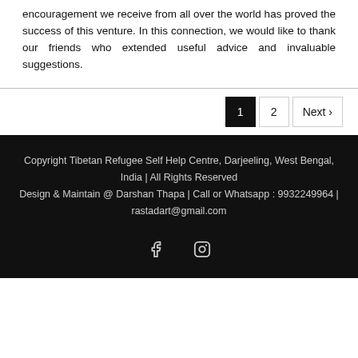encouragement we receive from all over the world has proved the success of this venture. In this connection, we would like to thank our friends who extended useful advice and invaluable suggestions.
Copyright Tibetan Refugee Self Help Centre, Darjeeling, West Bengal, India | All Rights Reserved
Design & Maintain @ Darshan Thapa | Call or Whatsapp : 9932249964 | rastadart@gmail.com